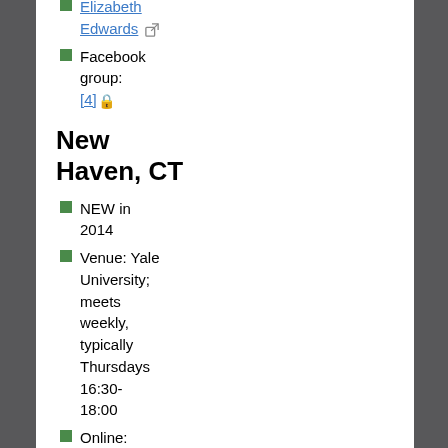Elizabeth Edwards [email icon]
Facebook group: [4] [lock]
New Haven, CT
NEW in 2014
Venue: Yale University; meets weekly, typically Thursdays 16:30-18:00
Online: Website [ext], Meetup.com [ext], Facebook Group [lock]
Contact: